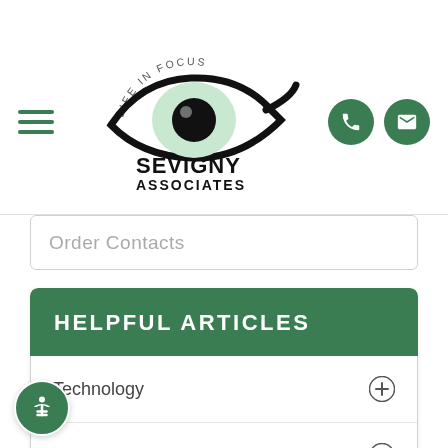[Figure (logo): Sevigny Associates Eye Care logo with eye graphic and 'Life in Focus' text]
Order Contacts
HELPFUL ARTICLES
Technology
Vision Therapy
Products
Eye Surgery Co-Management